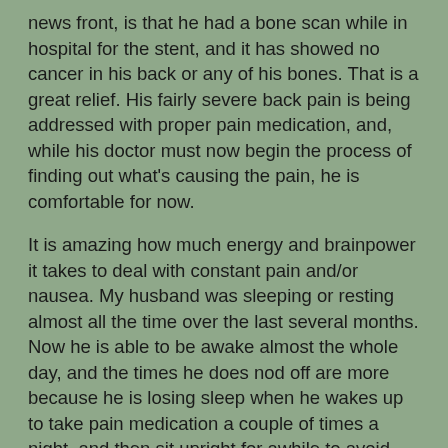news front, is that he had a bone scan while in hospital for the stent, and it has showed no cancer in his back or any of his bones. That is a great relief. His fairly severe back pain is being addressed with proper pain medication, and, while his doctor must now begin the process of finding out what's causing the pain, he is comfortable for now.
It is amazing how much energy and brainpower it takes to deal with constant pain and/or nausea. My husband was sleeping or resting almost all the time over the last several months. Now he is able to be awake almost the whole day, and the times he does nod off are more because he is losing sleep when he wakes up to take pain medication a couple of times a night, and then sit upright for awhile to avoid reflux in his throat.
I only wish -- and wish it fervently -- that everyone who has chronic pain could find relief from it, because it so negatively affects quality of life.
For now, we are trying to get rested up for the next steps in my husband's treatment. And we're trying to make our days as normal as possible. Because if we let the days slip away